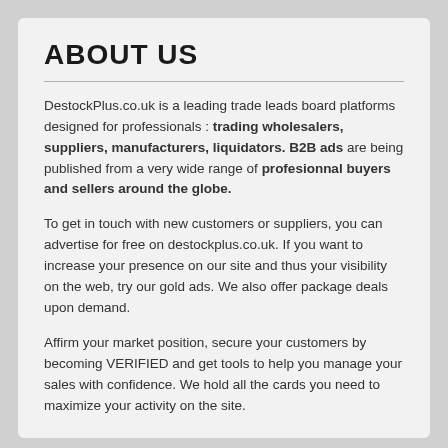ABOUT US
DestockPlus.co.uk is a leading trade leads board platforms designed for professionals : trading wholesalers, suppliers, manufacturers, liquidators. B2B ads are being published from a very wide range of profesionnal buyers and sellers around the globe.
To get in touch with new customers or suppliers, you can advertise for free on destockplus.co.uk. If you want to increase your presence on our site and thus your visibility on the web, try our gold ads. We also offer package deals upon demand.
Affirm your market position, secure your customers by becoming VERIFIED and get tools to help you manage your sales with confidence. We hold all the cards you need to maximize your activity on the site.